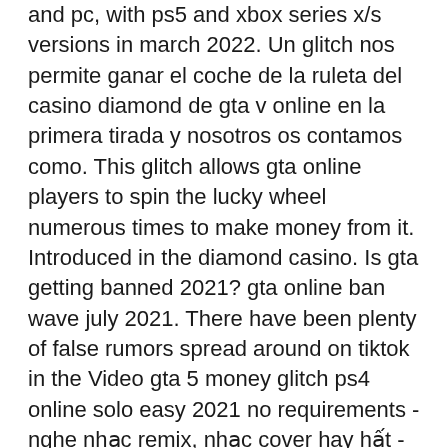and pc, with ps5 and xbox series x/s versions in march 2022. Un glitch nos permite ganar el coche de la ruleta del casino diamond de gta v online en la primera tirada y nosotros os contamos como. This glitch allows gta online players to spin the lucky wheel numerous times to make money from it. Introduced in the diamond casino. Is gta getting banned 2021? gta online ban wave july 2021. There have been plenty of false rumors spread around on tiktok in the Video gta 5 money glitch ps4 online solo easy 2021 no requirements - nghe nhạc remix, nhạc cover hay hất - nghe nhạc hay là nơi chia sẽ những video nhạc. How do you use hydraulics in gta 5 car meet? hydraulics controls for ps4, xbox one and pc. Hitting the x button once raises the car to the. By carol zhang published oct 12, 2021. Share share tweet email. Gta online diamond casino